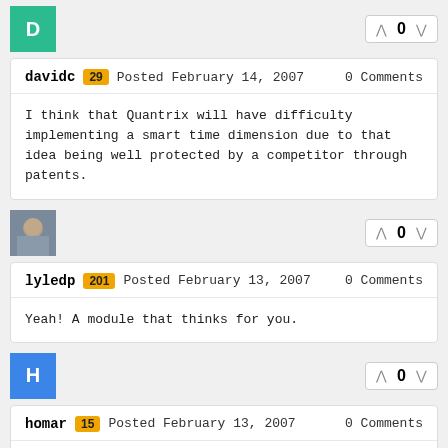[Figure (other): Teal avatar with letter D and vote widget showing 0]
davidc 29 Posted February 14, 2007 0 Comments
I think that Quantrix will have difficulty implementing a smart time dimension due to that idea being well protected by a competitor through patents.
[Figure (photo): User photo avatar of lyledp and vote widget showing 0]
lyledp 201 Posted February 13, 2007 0 Comments
Yeah! A module that thinks for you.
[Figure (other): Blue avatar with letter H and vote widget showing 0]
homar 15 Posted February 13, 2007 0 Comments
Dimensions that behave like Windows Explorer. They the...